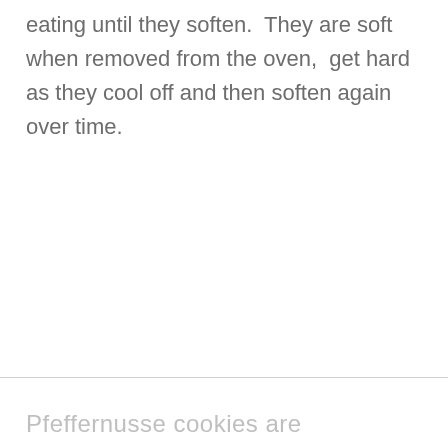eating until they soften.  They are soft when removed from the oven,  get hard as they cool off and then soften again over time.
Pfeffernusse cookies are